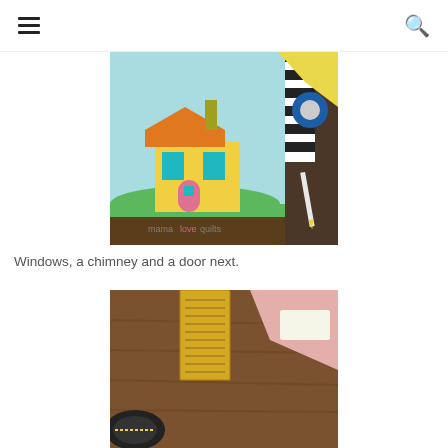navigation header with hamburger menu and search icon
[Figure (photo): A quilt block showing a yellow house with an orange roof, teal windows, pink door, green grass, and brown ground on a light blue background. Sewing supplies visible to the right. Watermark 'mama love quilts' at the bottom.]
Windows, a chimney and a door next.
[Figure (photo): A wooden table surface with sewing supplies including a measuring tape, fabric pieces in pink and other colors.]